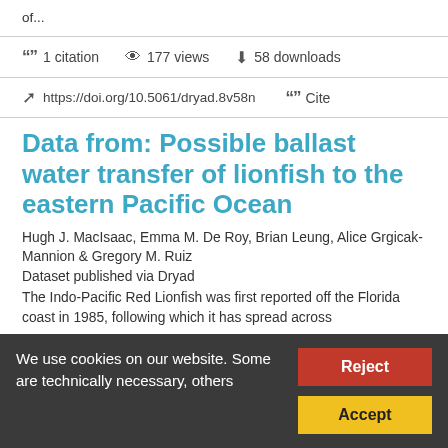of...
1 citation   177 views   58 downloads
https://doi.org/10.5061/dryad.8v58n   Cite
Data from: Possible ballast water transfer of lionfish to the eastern Pacific Ocean
Hugh J. MacIsaac, Emma M. De Roy, Brian Leung, Alice Grgicak-Mannion & Gregory M. Ruiz
Dataset published via Dryad
The Indo-Pacific Red Lionfish was first reported off the Florida coast in 1985, following which it has spread across
We use cookies on our website. Some are technically necessary, others